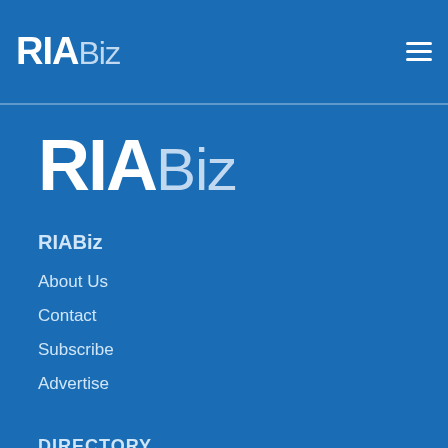RIABiz
[Figure (logo): RIABiz large logo with bold RIA and light Biz text in white on blue background]
RIABiz
About Us
Contact
Subscribe
Advertise
DIRECTORY
ARCHIVES
401(k) Stories
Breakaway Stories
Conferences